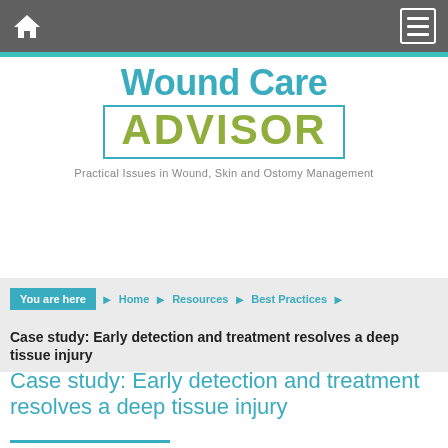Navigation bar with home and menu icons
[Figure (logo): Wound Care Advisor logo with tagline: Practical Issues in Wound, Skin and Ostomy Management]
You are here  Home  Resources  Best Practices
Case study: Early detection and treatment resolves a deep tissue injury
Case study: Early detection and treatment resolves a deep tissue injury